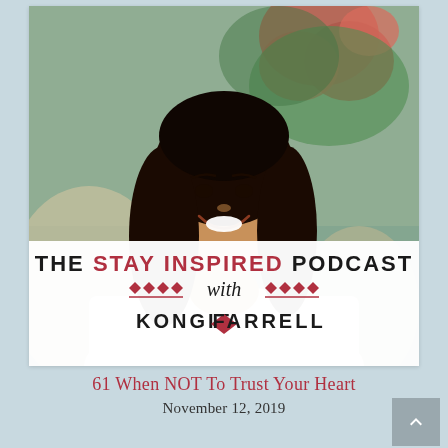[Figure (photo): Podcast cover image showing a smiling woman with long dark hair wearing a white blazer, seated in a wicker chair with red roses in the background. Overlaid text reads: THE STAY INSPIRED PODCAST with KONGIT FARRELL, with decorative diamond/arrow motifs.]
61 When NOT To Trust Your Heart
November 12, 2019